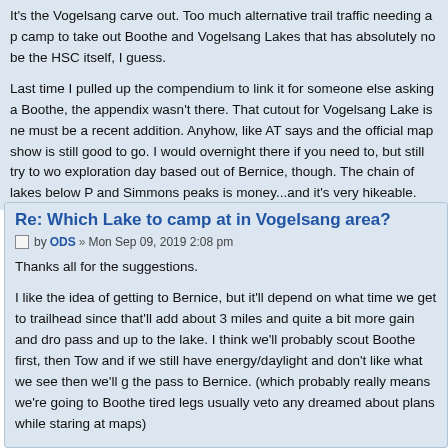It's the Vogelsang carve out. Too much alternative trail traffic needing a p camp to take out Boothe and Vogelsang Lakes that has absolutely no be the HSC itself, I guess.
Last time I pulled up the compendium to link it for someone else asking a Boothe, the appendix wasn't there. That cutout for Vogelsang Lake is ne must be a recent addition. Anyhow, like AT says and the official map show is still good to go. I would overnight there if you need to, but still try to wo exploration day based out of Bernice, though. The chain of lakes below P and Simmons peaks is money...and it's very hikeable.
Re: Which Lake to camp at in Vogelsang area?
by ODS » Mon Sep 09, 2019 2:08 pm
Thanks all for the suggestions.
I like the idea of getting to Bernice, but it'll depend on what time we get to trailhead since that'll add about 3 miles and quite a bit more gain and dro pass and up to the lake. I think we'll probably scout Boothe first, then Tow and if we still have energy/daylight and don't like what we see then we'll g the pass to Bernice. (which probably really means we're going to Boothe tired legs usually veto any dreamed about plans while staring at maps)
My current plan for the 2nd day day-hike is to go up Vogelsang Peak, and gain the ridge to Parsons Peak and get over there, then hopefully down